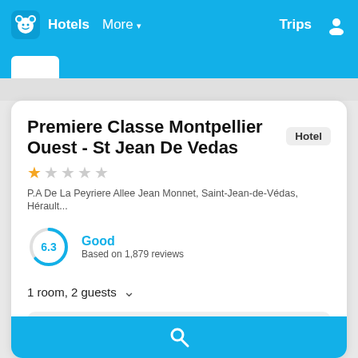Hotels  More  Trips
Premiere Classe Montpellier Ouest - St Jean De Vedas
Hotel
★ ☆ ☆ ☆ ☆
P.A De La Peyriere Allee Jean Monnet, Saint-Jean-de-Védas, Hérault...
6.3 Good
Based on 1,879 reviews
1 room, 2 guests
Tue 23/8  -  Wed 24/8